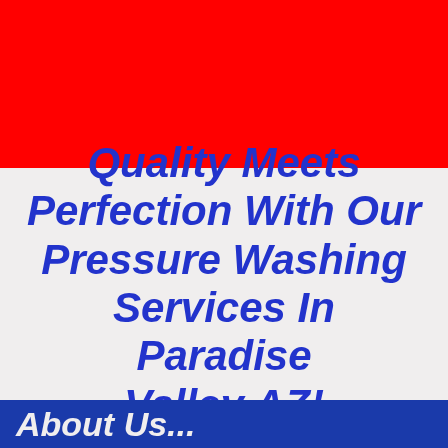[Figure (other): Solid red banner at the top of the page]
Quality Meets Perfection With Our Pressure Washing Services In Paradise Valley AZ!
About Us...